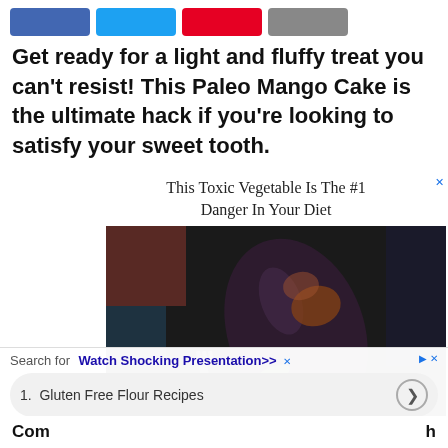[Figure (screenshot): Social media share buttons: Facebook (blue), Twitter (cyan), Pinterest (red), Email (gray)]
Get ready for a light and fluffy treat you can't resist! This Paleo Mango Cake is the ultimate hack if you're looking to satisfy your sweet tooth.
[Figure (photo): Advertisement overlay showing an eggplant being roasted on a gas burner with blue flame, with ad title 'This Toxic Vegetable Is The #1 Danger In Your Diet']
Search for
Watch Shocking Presentation>>
1. Gluten Free Flour Recipes
Com h